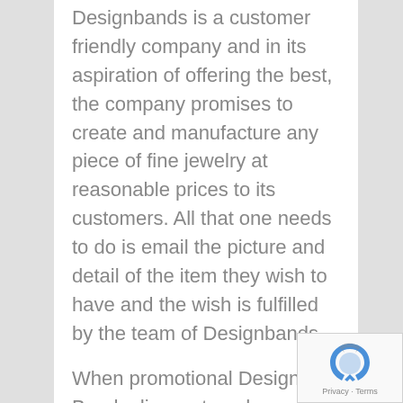Designbands is a customer friendly company and in its aspiration of offering the best, the company promises to create and manufacture any piece of fine jewelry at reasonable prices to its customers. All that one needs to do is email the picture and detail of the item they wish to have and the wish is fulfilled by the team of Designbands.
When promotional Design Bands discount codes become available, you will find them here..